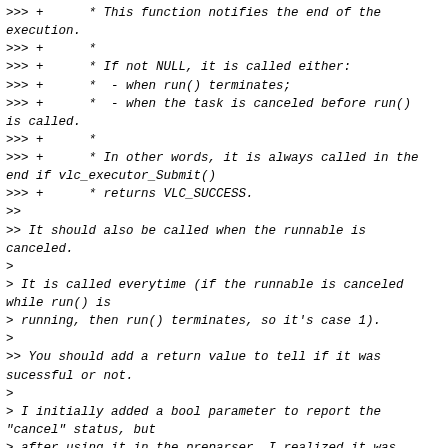>>> +      * This function notifies the end of the execution.
>>> +      *
>>> +      * If not NULL, it is called either:
>>> +      *  - when run() terminates;
>>> +      *  - when the task is canceled before run() is called.
>>> +      *
>>> +      * In other words, it is always called in the end if vlc_executor_Submit()
>>> +      * returns VLC_SUCCESS.
>>
>> It should also be called when the runnable is canceled.
>
> It is called everytime (if the runnable is canceled while run() is
> running, then run() terminates, so it's case 1).
>
>> You should add a return value to tell if it was sucessful or not.
>
> I initially added a bool parameter to report the "cancel" status, but
> after using it in the preparser, I realized it was useless and
> confusing.
>
>
> Useless: the user provides both the interrupt() and runnable()